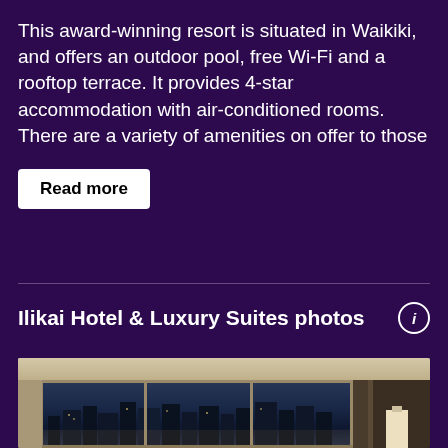This award-winning resort is situated in Waikiki, and offers an outdoor pool, free Wi-Fi and a rooftop terrace. It provides 4-star accommodation with air-conditioned rooms. There are a variety of amenities on offer to those
Read more
Ilikai Hotel & Luxury Suites photos
[Figure (photo): Interior hotel room photo showing large floor-to-ceiling windows overlooking a city skyline at dusk/night, with beige/cream ceiling, window frames, and dark curtains on the right side. A lamp is visible on the right.]